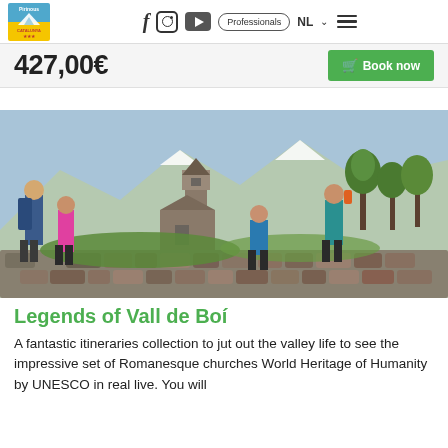Pirinous / Catalunya - Navigation bar with Facebook, Instagram, YouTube, Professionals, NL menu
427,00€
Book now
[Figure (photo): Four hikers resting on a stone wall in a green mountain valley with a Romanesque church bell tower and snow-capped peaks in the background, trees in full spring leaf]
Legends of Vall de Boí
A fantastic itineraries collection to jut out the valley life to see the impressive set of Romanesque churches World Heritage of Humanity by UNESCO in real live. You will